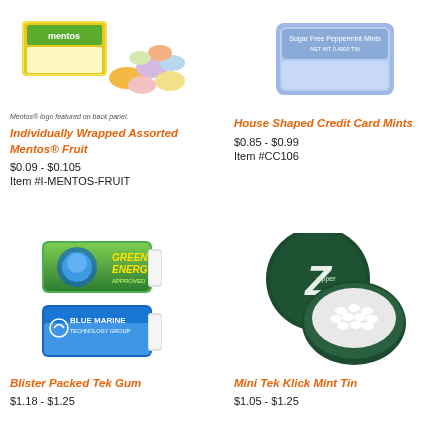[Figure (photo): Individually Wrapped Assorted Mentos Fruit candies with Mentos logo on package]
Mentos® logo featured on back panel.
Individually Wrapped Assorted Mentos® Fruit
$0.09 - $0.105
Item #I-MENTOS-FRUIT
[Figure (photo): House Shaped Credit Card Mints packaging in blue]
House Shaped Credit Card Mints
$0.85 - $0.99
Item #CC106
[Figure (photo): Two blister packed Tek Gum packs: Green Energy and Blue Marine Technology Group]
Blister Packed Tek Gum
$1.18 - $1.25
[Figure (photo): Mini Tek Klick Mint Tin in dark green circular tin with Z logo, open showing white mints inside]
Mini Tek Klick Mint Tin
$1.05 - $1.25